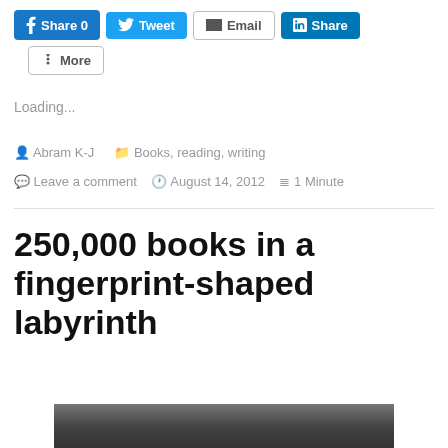Share 0 | Tweet | Email | Share | More
Loading...
Abram K-J  |  Books, reading, writing  |  Leave a comment  |  August 14, 2012  |  1 Minute
250,000 books in a fingerprint-shaped labyrinth
[Figure (photo): Partial thumbnail image at the bottom of the page, dark/silhouetted content]